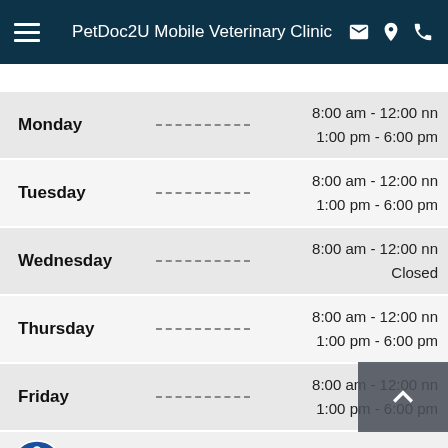PetDoc2U Mobile Veterinary Clinic
| Day | Hours |
| --- | --- |
| Monday | 8:00 am - 12:00 nn
1:00 pm - 6:00 pm |
| Tuesday | 8:00 am - 12:00 nn
1:00 pm - 6:00 pm |
| Wednesday | 8:00 am - 12:00 nn
Closed |
| Thursday | 8:00 am - 12:00 nn
1:00 pm - 6:00 pm |
| Friday | 8:00 am - 12:00 nn
1:00 pm - 6:00 pm |
| Saturday | By Appt.
Closed |